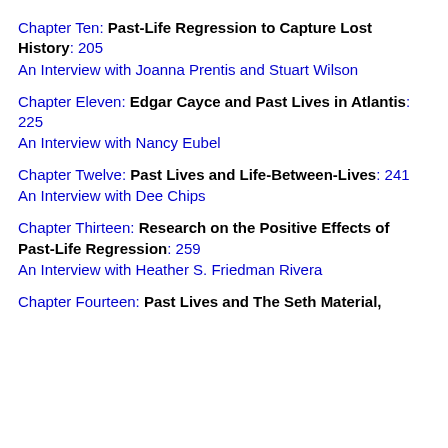Chapter Ten: Past-Life Regression to Capture Lost History: 205
An Interview with Joanna Prentis and Stuart Wilson
Chapter Eleven: Edgar Cayce and Past Lives in Atlantis: 225
An Interview with Nancy Eubel
Chapter Twelve: Past Lives and Life-Between-Lives: 241
An Interview with Dee Chips
Chapter Thirteen: Research on the Positive Effects of Past-Life Regression: 259
An Interview with Heather S. Friedman Rivera
Chapter Fourteen: Past Lives and The Seth Material,